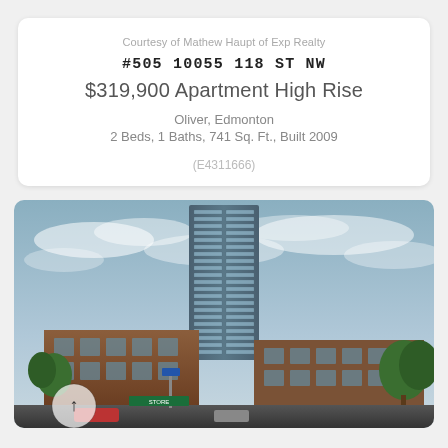Courtesy of Mathew Haupt of Exp Realty
#505 10055 118 ST NW
$319,900 Apartment High Rise
Oliver, Edmonton
2 Beds, 1 Baths, 741 Sq. Ft., Built 2009
(E4311666)
[Figure (photo): Exterior photo of a tall glass high-rise condominium tower in Edmonton, with lower brick commercial buildings in the foreground, green trees on the right, and a partly cloudy sky.]